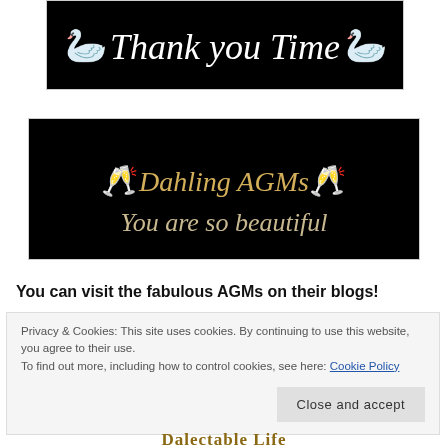[Figure (illustration): Black banner image with two swan emojis and italic cursive text reading 'Thank you Time' in white on black background]
[Figure (illustration): Black banner image with two champagne glass emojis and italic serif text reading 'Dahling AGMs' on first line and 'You are so beautiful' on second line, golden/cream colored text on black background]
You can visit the fabulous AGMs on their blogs!
Privacy & Cookies: This site uses cookies. By continuing to use this website, you agree to their use.
To find out more, including how to control cookies, see here: Cookie Policy
Close and accept
Dalectable Life